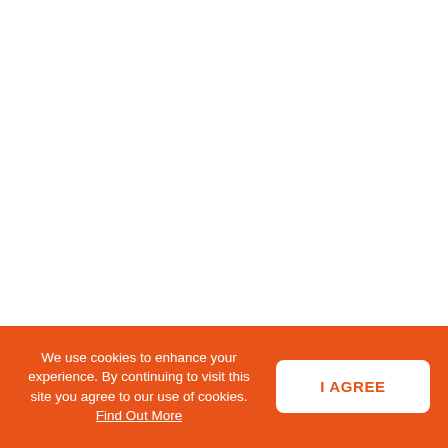We use cookies to enhance your experience. By continuing to visit this site you agree to our use of cookies. Find Out More